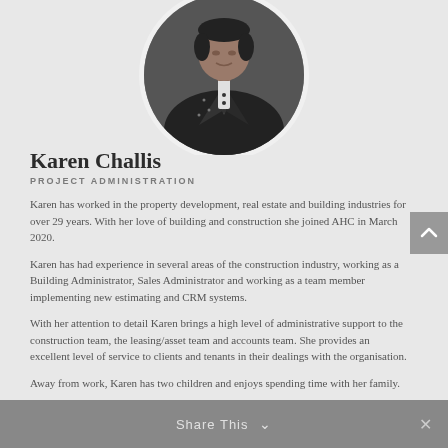[Figure (photo): Circular profile photo of Karen Challis, a person in dark formal attire, cropped at the top of the page]
Karen Challis
PROJECT ADMINISTRATION
Karen has worked in the property development, real estate and building industries for over 29 years. With her love of building and construction she joined AHC in March 2020.
Karen has had experience in several areas of the construction industry, working as a Building Administrator, Sales Administrator and working as a team member implementing new estimating and CRM systems.
With her attention to detail Karen brings a high level of administrative support to the construction team, the leasing/asset team and accounts team. She provides an excellent level of service to clients and tenants in their dealings with the organisation.
Away from work, Karen has two children and enjoys spending time with her family.
Share This ∨  ✕